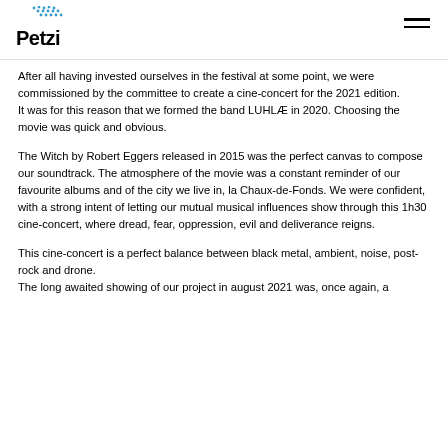Petzi
After all having invested ourselves in the festival at some point, we were commissioned by the committee to create a cine-concert for the 2021 edition.
It was for this reason that we formed the band LUHLÆ in 2020. Choosing the movie was quick and obvious.
The Witch by Robert Eggers released in 2015 was the perfect canvas to compose our soundtrack. The atmosphere of the movie was a constant reminder of our favourite albums and of the city we live in, la Chaux-de-Fonds. We were confident, with a strong intent of letting our mutual musical influences show through this 1h30 cine-concert, where dread, fear, oppression, evil and deliverance reigns.
This cine-concert is a perfect balance between black metal, ambient, noise, post-rock and drone.
The long awaited showing of our project in august 2021 was, once again, a